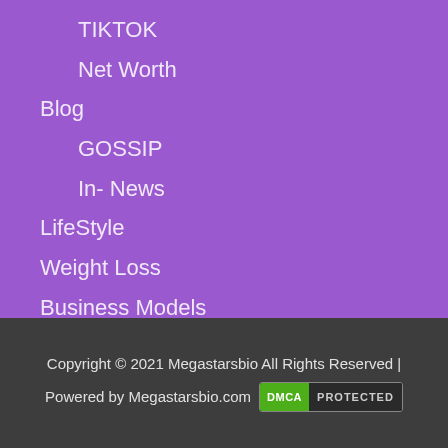TIKTOK
Net Worth
Blog
GOSSIP
In- News
LifeStyle
Weight Loss
Business Models
WEB STORIES
Copyright © 2021 Megastarsbio All Rights Reserved | Powered by Megastarsbio.com DMCA PROTECTED